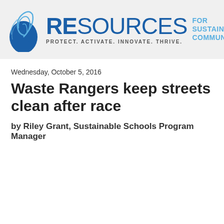[Figure (logo): Resources for Sustainable Communities logo with shell icon and tagline PROTECT. ACTIVATE. INNOVATE. THRIVE.]
Wednesday, October 5, 2016
Waste Rangers keep streets clean after race
by Riley Grant, Sustainable Schools Program Manager